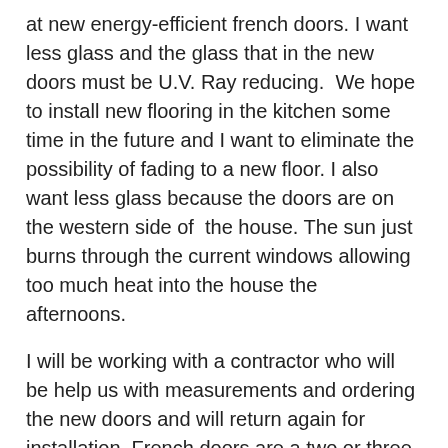at new energy-efficient french doors. I want less glass and the glass that in the new doors must be U.V. Ray reducing.  We hope to install new flooring in the kitchen some time in the future and I want to eliminate the possibility of fading to a new floor. I also want less glass because the doors are on the western side of  the house. The sun just burns through the current windows allowing too much heat into the house the afternoons.
I will be working with a contractor who will be help us with measurements and ordering the new doors and will return again for installation. French doors are a two or three-man job for installation and Tom and I will need all the help we can get to get them into place in one day.
As for the tile on the outside of the house we will replace the doors first and allow any of the old facade to